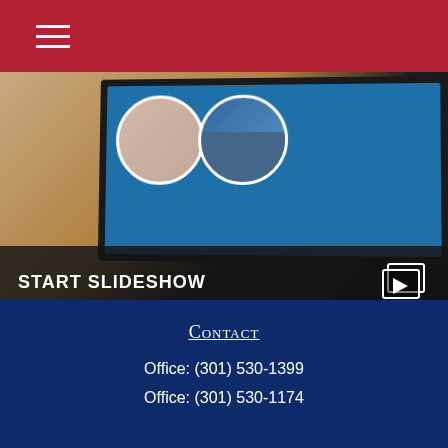[Figure (screenshot): Slideshow thumbnail showing a laptop screen with circular portrait images and a dark overlay reading START SLIDESHOW with a slideshow play icon]
5 Smart Investing Strategies
Getting what you want out of your money may require the right game plan.
Contact
Office: (301) 530-1399
Office: (301) 530-1174